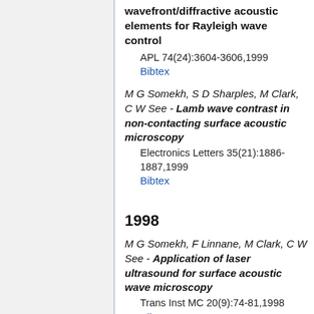wavefront/diffractive acoustic elements for Rayleigh wave control
APL 74(24):3604-3606,1999
Bibtex
M G Somekh, S D Sharples, M Clark, C W See - Lamb wave contrast in non-contacting surface acoustic microscopy
Electronics Letters 35(21):1886-1887,1999
Bibtex
1998
M G Somekh, F Linnane, M Clark, C W See - Application of laser ultrasound for surface acoustic wave microscopy
Trans Inst MC 20(9):74-81,1998
Bibtex